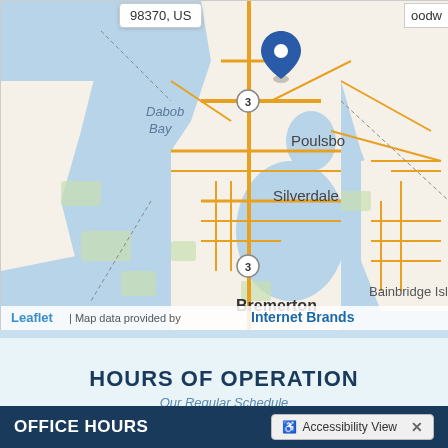[Figure (map): Street map showing Poulsbo, Silverdale, Bremerton, and Bainbridge Island area in Washington State (ZIP 98370, US). A blue location pin is placed on Poulsbo. Roads shown in orange/yellow, water bodies in blue. Highway 3 marked. Attribution: Leaflet | Map data provided by Internet Brands.]
98370, US
oodw
HOURS OF OPERATION
Our Regular Schedule
OFFICE HOURS
Accessibility View